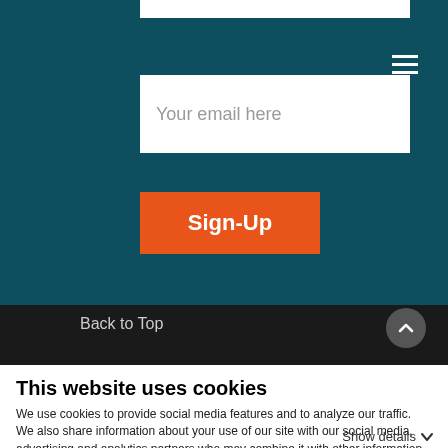[Figure (screenshot): Email input field with placeholder text 'Your email here' on a teal background]
[Figure (screenshot): Orange Sign-Up button on teal background]
[Figure (screenshot): Dark footer bar with Back to Top text and circular arrow button]
This website uses cookies
We use cookies to provide social media features and to analyze our traffic. We also share information about your use of our site with our social media, advertising and analytics partners who may combine it with other information that you've provided to them or that they've collected from your use of their services.
Use necessary cookies only
Allow all cookies
Show details